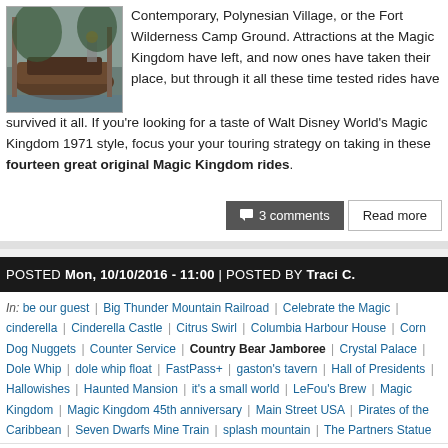[Figure (photo): Photo of a wooden boat at a dock area]
Contemporary, Polynesian Village, or the Fort Wilderness Camp Ground. Attractions at the Magic Kingdom have left, and now ones have taken their place, but through it all these time tested rides have survived it all. If you're looking for a taste of Walt Disney World's Magic Kingdom 1971 style, focus your your touring strategy on taking in these fourteen great original Magic Kingdom rides.
3 comments
Read more
POSTED Mon, 10/10/2016 - 11:00 | POSTED BY Traci C.
In: be our guest | Big Thunder Mountain Railroad | Celebrate the Magic | cinderella | Cinderella Castle | Citrus Swirl | Columbia Harbour House | Corn Dog Nuggets | Counter Service | Country Bear Jamboree | Crystal Palace | Dole Whip | dole whip float | FastPass+ | gaston's tavern | Hall of Presidents | Hallowishes | Haunted Mansion | it's a small world | LeFou's Brew | Magic Kingdom | Magic Kingdom 45th anniversary | Main Street USA | Pirates of the Caribbean | Seven Dwarfs Mine Train | splash mountain | The Partners Statue
45 Things to Love About the Magic Kingdom in Honor of the Theme Park's 45th Anniversary Year
[Figure (photo): Photo of Cinderella Castle at Magic Kingdom]
The Magic Kingdom celebrated its 45th anniversary on October 1 so it seems like a good time to expand our top 10 list of things to love about the Magic